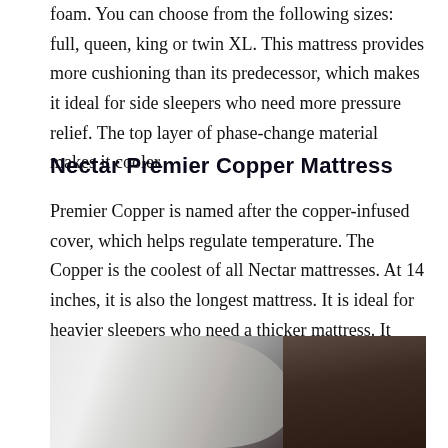foam. You can choose from the following sizes: full, queen, king or twin XL. This mattress provides more cushioning than its predecessor, which makes it ideal for side sleepers who need more pressure relief. The top layer of phase-change material makes it cooler.
Nectar Premier Copper Mattress
Premier Copper is named after the copper-infused cover, which helps regulate temperature. The Copper is the coolest of all Nectar mattresses. At 14 inches, it is also the longest mattress. It is ideal for heavier sleepers who need a thicker mattress. It comes in the following sizes: twin, twin XL, full, queen, king, and cal king.
[Figure (photo): Photo of a bed with white sheets and pillows, partially in shadow with dark background on the right side.]